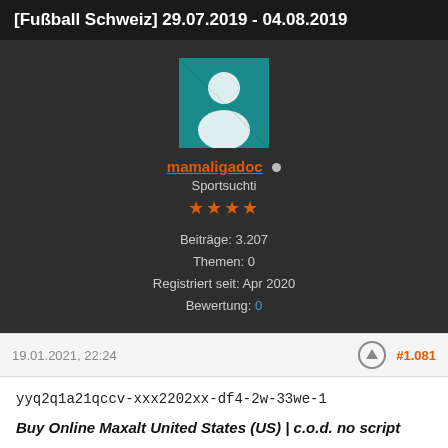[Fußball Schweiz] 29.07.2019 - 04.08.2019
[Figure (illustration): User profile panel with avatar (person silhouette icon on teal background), username mamaligadoc with online dot, title Sportsuchti, 4 orange stars, and user stats: Beiträge: 3.207, Themen: 0, Registriert seit: Apr 2020, Bewertung: 0]
19.01.2021, 22:24
#1.081
yyq2q1a21qccv-xxx2202xx-df4-2w-33we-1
Buy Online Maxalt United States (US) | c.o.d. no script